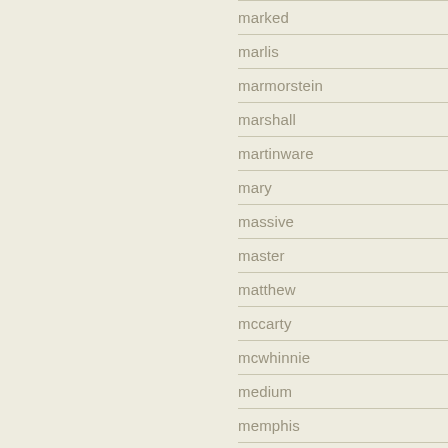marked
marlis
marmorstein
marshall
martinware
mary
massive
master
matthew
mccarty
mcwhinnie
medium
memphis
meyers
michael
micki